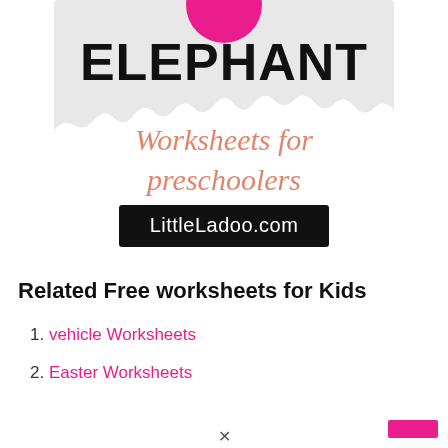[Figure (illustration): Elephant worksheets for preschoolers promotional image with pink circle at top, bold black ELEPHANT text, salmon/orange italic 'Worksheets for preschoolers' text on a torn paper background, and a black banner with LittleLadoo.com in white text]
Related Free worksheets for Kids
vehicle Worksheets
Easter Worksheets